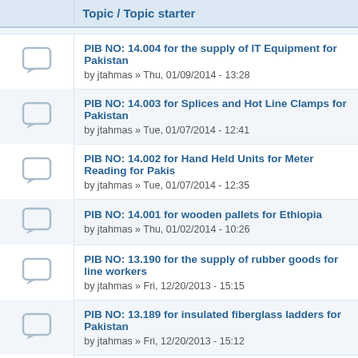|  | Topic / Topic starter |
| --- | --- |
| [icon] | PIB NO: 14.004 for the supply of IT Equipment for Pakistan
by jtahmas » Thu, 01/09/2014 - 13:28 |
| [icon] | PIB NO: 14.003 for Splices and Hot Line Clamps for Pakistan
by jtahmas » Tue, 01/07/2014 - 12:41 |
| [icon] | PIB NO: 14.002 for Hand Held Units for Meter Reading for Pakistan
by jtahmas » Tue, 01/07/2014 - 12:35 |
| [icon] | PIB NO: 14.001 for wooden pallets for Ethiopia
by jtahmas » Thu, 01/02/2014 - 10:26 |
| [icon] | PIB NO: 13.190 for the supply of rubber goods for line workers
by jtahmas » Fri, 12/20/2013 - 15:15 |
| [icon] | PIB NO: 13.189 for insulated fiberglass ladders for Pakistan
by jtahmas » Fri, 12/20/2013 - 15:12 |
| [icon] | PIB NO: 13.188 for training and mentoring for contingency planning
by jtahmas » Tue, 12/17/2013 - 11:26 |
| [icon] | PIB NO: 13.187 for the President's Global Malaria Initiative
 |